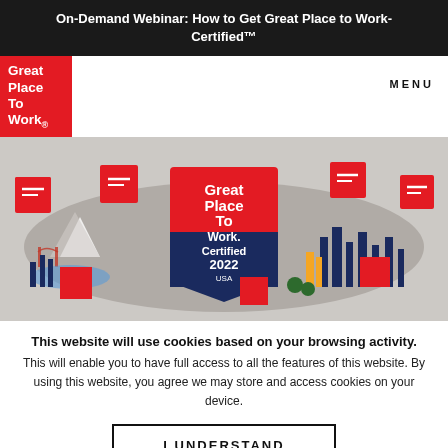On-Demand Webinar: How to Get Great Place to Work-Certified™
[Figure (logo): Great Place To Work logo in white text on red background]
MENU
[Figure (illustration): Great Place To Work Certified 2022 USA badge/shield centered over illustrated USA map with colorful buildings, characters, and landmarks]
This website will use cookies based on your browsing activity.
This will enable you to have full access to all the features of this website. By using this website, you agree we may store and access cookies on your device.
I UNDERSTAND